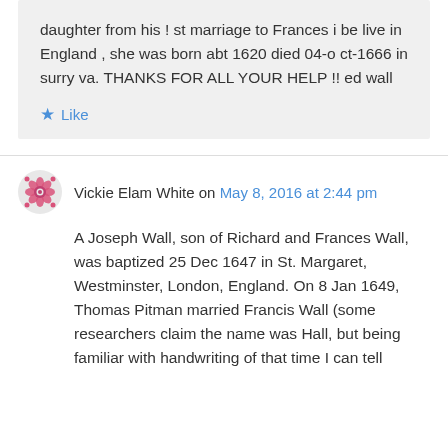daughter from his ! st marriage to Frances i be live in England , she was born abt 1620 died 04-oct-1666 in surry va. THANKS FOR ALL YOUR HELP !! ed wall
Like
Vickie Elam White on May 8, 2016 at 2:44 pm
A Joseph Wall, son of Richard and Frances Wall, was baptized 25 Dec 1647 in St. Margaret, Westminster, London, England. On 8 Jan 1649, Thomas Pitman married Francis Wall (some researchers claim the name was Hall, but being familiar with handwriting of that time I can tell